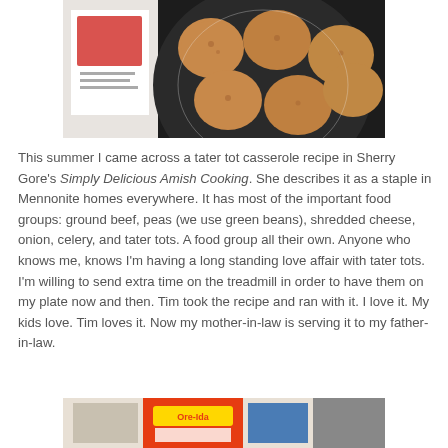[Figure (photo): Photo of cookies/whoopie pies on a dark plate with a cookbook visible in the background]
This summer I came across a tater tot casserole recipe in Sherry Gore's Simply Delicious Amish Cooking. She describes it as a staple in Mennonite homes everywhere. It has most of the important food groups: ground beef, peas (we use green beans), shredded cheese, onion, celery, and tater tots. A food group all their own. Anyone who knows me, knows I'm having a long standing love affair with tater tots. I'm willing to send extra time on the treadmill in order to have them on my plate now and then. Tim took the recipe and ran with it. I love it. My kids love. Tim loves it. Now my mother-in-law is serving it to my father-in-law.
[Figure (photo): Partial photo at bottom showing packaged food items]